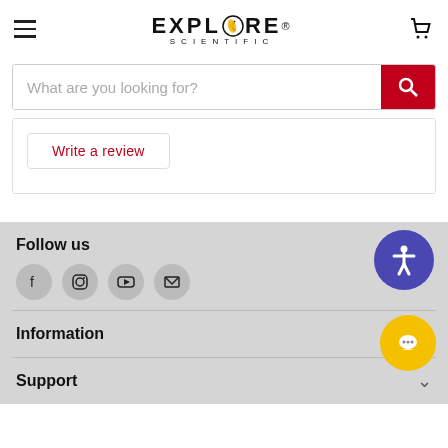[Figure (logo): Explore Scientific logo with orange/yellow comet O and registered trademark symbol]
What are you looking for?
Write a review
Follow us
[Figure (infographic): Social media icons: Facebook, Instagram, YouTube, Email]
Information
Support